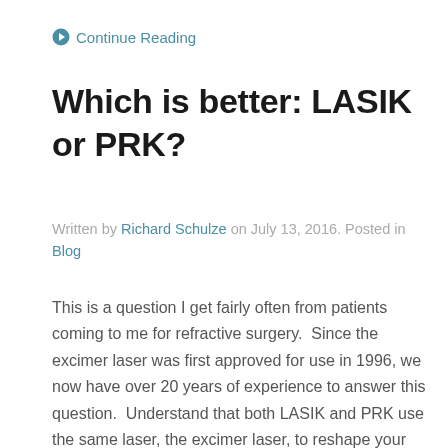Continue Reading
Which is better: LASIK or PRK?
Written by Richard Schulze on July 13, 2016. Posted in Blog
This is a question I get fairly often from patients coming to me for refractive surgery. Since the excimer laser was first approved for use in 1996, we now have over 20 years of experience to answer this question. Understand that both LASIK and PRK use the same laser, the excimer laser, to reshape your cornea to improve your vision, whether you have nearsightedness, farsightedness, or astigmatism. The